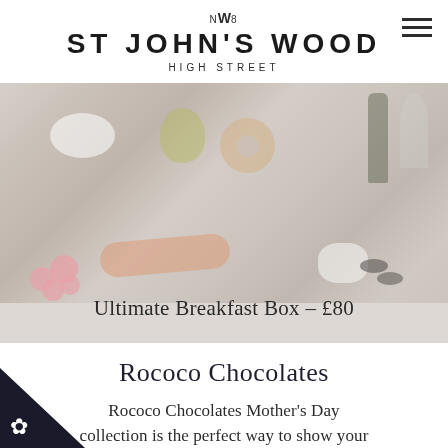NW8 ST JOHN'S WOOD HIGH STREET
[Figure (photo): Overhead/flat-lay photo of a luxury breakfast spread including a bowl of nuts, a pear, a bagel, smoked salmon, bottles of wine, a wine glass, cream, caviar tins, and small raspberry tart cases. Image is pale/washed out.]
Ultimate Breakfast Box – £80
Rococo Chocolates
Rococo Chocolates Mother's Day collection is the perfect way to show your Mum just how great she is. From decadent truffle boxes to stylish